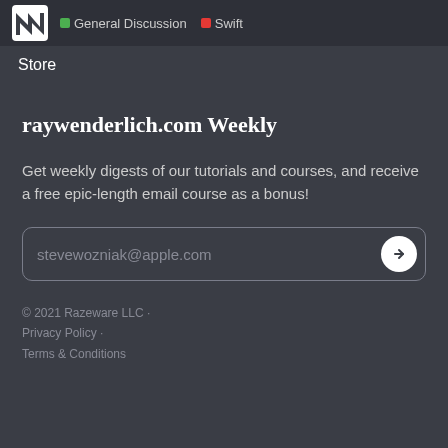General Discussion  Swift
Store
raywenderlich.com Weekly
Get weekly digests of our tutorials and courses, and receive a free epic-length email course as a bonus!
stevewozniak@apple.com
© 2021 Razeware LLC · Privacy Policy · Terms & Conditions